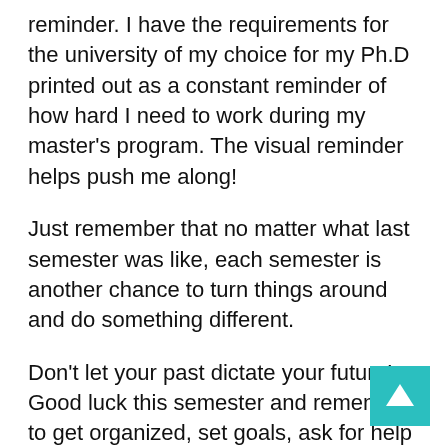reminder. I have the requirements for the university of my choice for my Ph.D printed out as a constant reminder of how hard I need to work during my master's program. The visual reminder helps push me along!
Just remember that no matter what last semester was like, each semester is another chance to turn things around and do something different.
Don't let your past dictate your future! Good luck this semester and remember to get organized, set goals, ask for help and plan the future!